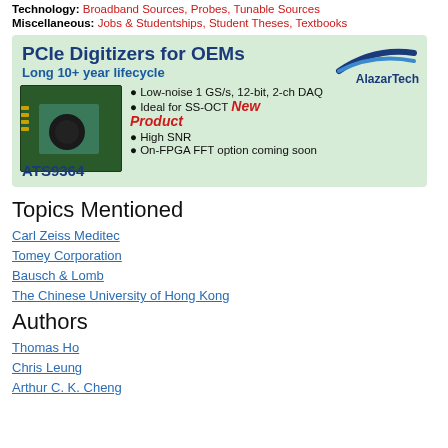Technology: Broadband Sources, Probes, Tunable Sources
Miscellaneous: Jobs & Studentships, Student Theses, Textbooks
[Figure (illustration): Advertisement for AlazarTech ATS9364 PCIe Digitizers for OEMs. Light green background. Text: 'PCIe Digitizers for OEMs', 'Long 10+ year lifecycle', 'AlazarTech' logo with blue swoosh, image of PCIe card, bullet points: Low-noise 1 GS/s, 12-bit, 2-ch DAQ; Ideal for SS-OCT; High SNR; On-FPGA FFT option coming soon. 'New Product' stamp in red italic. 'ATS9364' in blue bold.]
Topics Mentioned
Carl Zeiss Meditec
Tomey Corporation
Bausch & Lomb
The Chinese University of Hong Kong
Authors
Thomas Ho
Chris Leung
Arthur C. K. Cheng